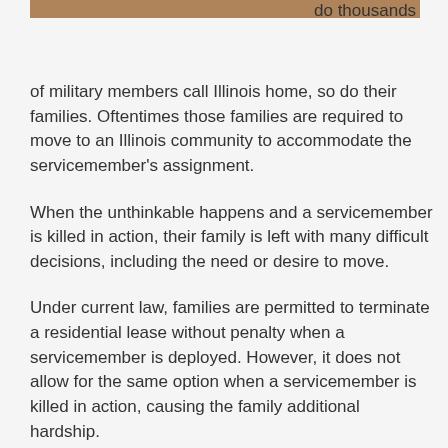[Figure (photo): Partial photo strip visible at top of page showing people outdoors]
do thousands of military members call Illinois home, so do their families. Oftentimes those families are required to move to an Illinois community to accommodate the servicemember's assignment.
When the unthinkable happens and a servicemember is killed in action, their family is left with many difficult decisions, including the need or desire to move.
Under current law, families are permitted to terminate a residential lease without penalty when a servicemember is deployed. However, it does not allow for the same option when a servicemember is killed in action, causing the family additional hardship.
Rep. Mike Unes learned of this issue from a widow of a fallen soldier. She and her two young children needed to move after her husband was killed in action but the